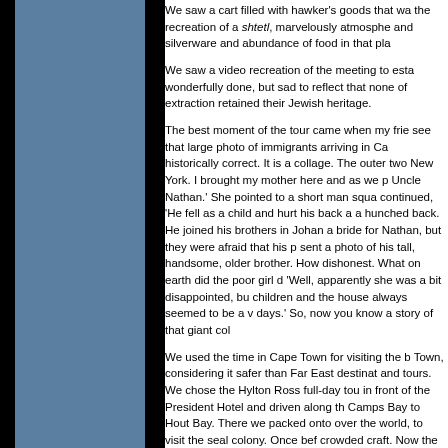We saw a cart filled with hawker's goods that was the recreation of a shtetl, marvelously atmosphe and silverware and abundance of food in that pla

We saw a video recreation of the meeting to esta wonderfully done, but sad to reflect that none of extraction retained their Jewish heritage.

The best moment of the tour came when my frie see that large photo of immigrants arriving in Ca historically correct. It is a collage. The outer two New York. I brought my mother here and as we p Uncle Nathan.' She pointed to a short man squa continued, 'He fell as a child and hurt his back a a hunched back. He joined his brothers in Johan a bride for Nathan, but they were afraid that his p sent a photo of his tall, handsome, older brother. How dishonest. What on earth did the poor girl d 'Well, apparently she was a bit disappointed, bu children and the house always seemed to be a v days.' So, now you know a story of that giant col

We used the time in Cape Town for visiting the b Town, considering it safer than Far East destinat and tours. We chose the Hylton Ross full-day tou in front of the President Hotel and driven along th Camps Bay to Hout Bay. There we packed onto over the world, to visit the seal colony. Once bef crowded craft. Now the gabble of strange langua somewhat spoiled the visit for me, but the sight d